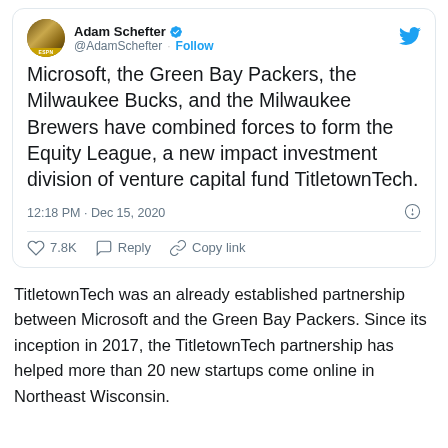[Figure (screenshot): Tweet from @AdamSchefter with avatar, display name, follow button, and Twitter bird icon at top right]
Microsoft, the Green Bay Packers, the Milwaukee Bucks, and the Milwaukee Brewers have combined forces to form the Equity League, a new impact investment division of venture capital fund TitletownTech.
12:18 PM · Dec 15, 2020
7.8K   Reply   Copy link
TitletownTech was an already established partnership between Microsoft and the Green Bay Packers. Since its inception in 2017, the TitletownTech partnership has helped more than 20 new startups come online in Northeast Wisconsin.